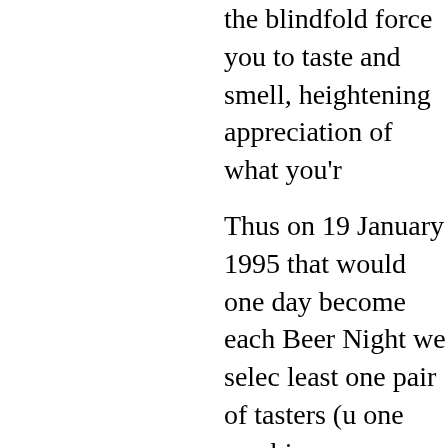the blindfold force you to taste and smell, heightening appreciation of what you're
Thus on 19 January 1995 that would one day become each Beer Night we select at least one pair of tasters (usually one newbie, one veteran), place before them two beers in glasses, and invite them to find the singleton, making interesting remarks along the way. We eschew language of "success" and "failure" for this test, though it's sometimes hard (<cough> Brad <cough>). Invariably the tasters have plenty to say about the beers — and that's really the whole point.
As far as any of us can remember, the Blindfold Triangle Test has been a feature of our beginning. Much to our chagrin participants and results ch